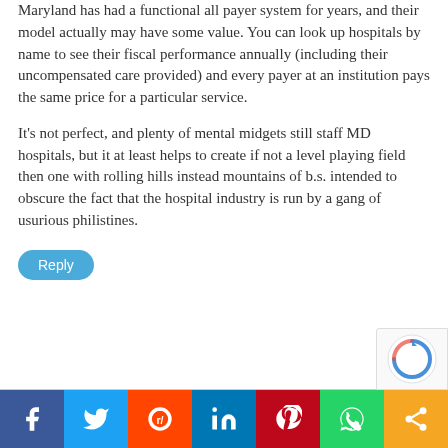Maryland has had a functional all payer system for years, and their model actually may have some value. You can look up hospitals by name to see their fiscal performance annually (including their uncompensated care provided) and every payer at an institution pays the same price for a particular service.
It's not perfect, and plenty of mental midgets still staff MD hospitals, but it at least helps to create if not a level playing field then one with rolling hills instead mountains of b.s. intended to obscure the fact that the hospital industry is run by a gang of usurious philistines.